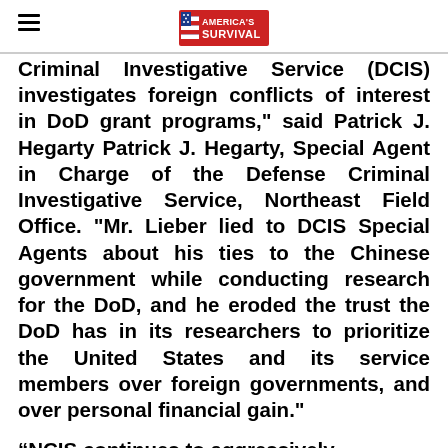America's Survival
Criminal Investigative Service (DCIS) investigates foreign conflicts of interest in DoD grant programs," said Patrick J. Hegarty Patrick J. Hegarty, Special Agent in Charge of the Defense Criminal Investigative Service, Northeast Field Office. "Mr. Lieber lied to DCIS Special Agents about his ties to the Chinese government while conducting research for the DoD, and he eroded the trust the DoD has in its researchers to prioritize the United States and its service members over foreign governments, and over personal financial gain."
“NCIS continues to aggressively